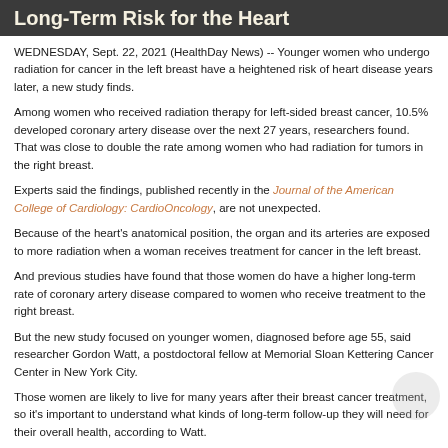Long-Term Risk for the Heart
WEDNESDAY, Sept. 22, 2021 (HealthDay News) -- Younger women who undergo radiation for cancer in the left breast have a heightened risk of heart disease years later, a new study finds.
Among women who received radiation therapy for left-sided breast cancer, 10.5% developed coronary artery disease over the next 27 years, researchers found. That was close to double the rate among women who had radiation for tumors in the right breast.
Experts said the findings, published recently in the Journal of the American College of Cardiology: CardioOncology, are not unexpected.
Because of the heart's anatomical position, the organ and its arteries are exposed to more radiation when a woman receives treatment for cancer in the left breast.
And previous studies have found that those women do have a higher long-term rate of coronary artery disease compared to women who receive treatment to the right breast.
But the new study focused on younger women, diagnosed before age 55, said researcher Gordon Watt, a postdoctoral fellow at Memorial Sloan Kettering Cancer Center in New York City.
Those women are likely to live for many years after their breast cancer treatment, so it's important to understand what kinds of long-term follow-up they will need for their overall health, according to Watt.